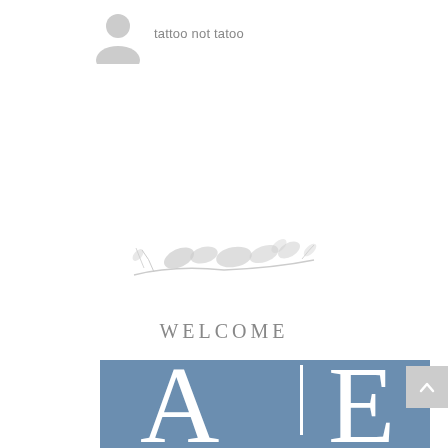[Figure (illustration): Gray generic user/person silhouette icon]
tattoo not tatoo
[Figure (illustration): Light gray watercolor floral/botanical decoration with leaves and branches]
WELCOME
[Figure (illustration): Blue-gray banner with large white serif letters A and E separated by a vertical line, partially visible at bottom of page]
[Figure (illustration): Gray scroll-to-top button with upward chevron arrow]